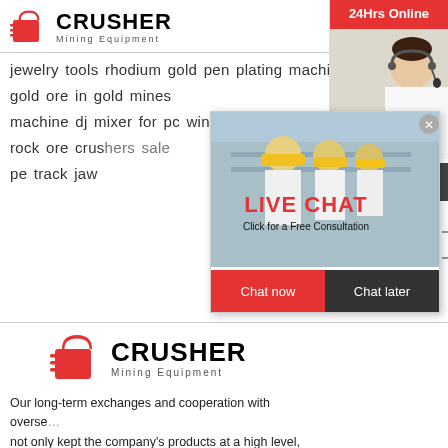[Figure (logo): Crusher Mining Equipment logo with red shopping bag icon and bold text]
jewelry tools rhodium gold pen plating machine
gold ore in gold mines
machine dj mixer for pc windows 10
rock ore crushers sale
pe track jaw
[Figure (screenshot): Live Chat popup overlay with workers in hard hats, LIVE CHAT heading in red, Click for a Free Consultation text, Chat now and Chat later buttons]
[Figure (infographic): Right sidebar with 24Hrs Online banner, customer service agent photo, Need questions & suggestion? text, Chat Now button, Enquiry section, limingjlmofen@sina.com email]
[Figure (logo): Crusher Mining Equipment logo bottom repeated]
Our long-term exchanges and cooperation with overseas not only kept the company's products at a high level, but range of international markets. The products are ex...